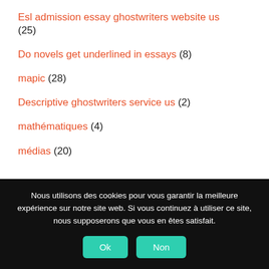Esl admission essay ghostwriters website us (25)
Do novels get underlined in essays (8)
mapic (28)
Descriptive ghostwriters service us (2)
mathématiques (4)
médias (20)
Nous utilisons des cookies pour vous garantir la meilleure expérience sur notre site web. Si vous continuez à utiliser ce site, nous supposerons que vous en êtes satisfait.